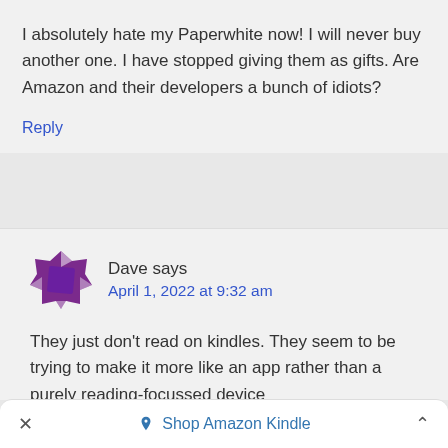I absolutely hate my Paperwhite now! I will never buy another one. I have stopped giving them as gifts. Are Amazon and their developers a bunch of idiots?
Reply
Dave says
April 1, 2022 at 9:32 am
They just don't read on kindles. They seem to be trying to make it more like an app rather than a purely reading-focussed device
× Shop Amazon Kindle ^